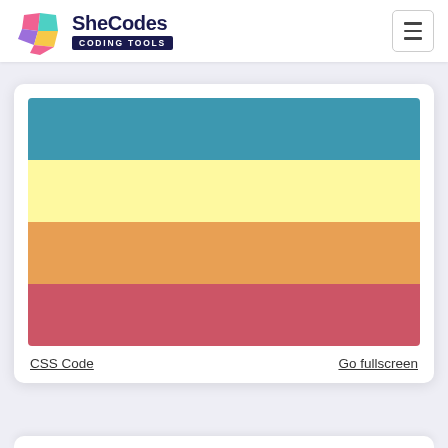[Figure (logo): SheCodes Coding Tools logo with colorful diamond gem icon and dark navy text]
[Figure (infographic): Color palette display showing 4 horizontal color strips: teal/blue, pale yellow, warm orange, and muted red/rose]
CSS Code
Go fullscreen